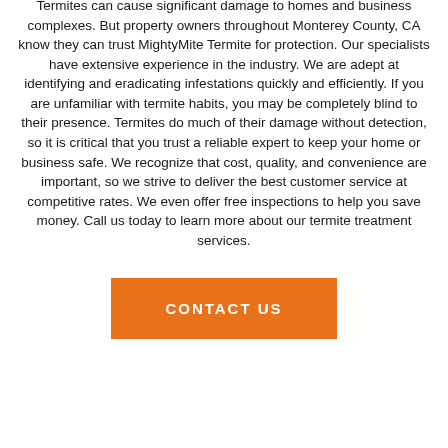Termites can cause significant damage to homes and business complexes. But property owners throughout Monterey County, CA know they can trust MightyMite Termite for protection. Our specialists have extensive experience in the industry. We are adept at identifying and eradicating infestations quickly and efficiently. If you are unfamiliar with termite habits, you may be completely blind to their presence. Termites do much of their damage without detection, so it is critical that you trust a reliable expert to keep your home or business safe. We recognize that cost, quality, and convenience are important, so we strive to deliver the best customer service at competitive rates. We even offer free inspections to help you save money. Call us today to learn more about our termite treatment services.
CONTACT US